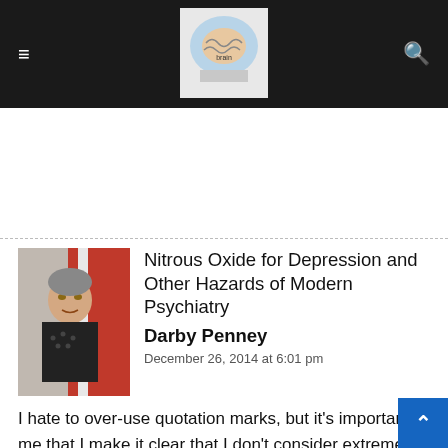Nitrous Oxide for Depression and Other Hazards of Modern Psychiatry — blog navigation bar
[Figure (screenshot): Website navigation bar with hamburger menu icon on left, a logo image of a human head cross-section in the center, and a search icon on the right, on a dark background]
[Figure (photo): Author photo of Darby Penney, a woman speaking at a podium in front of a red and white background]
Nitrous Oxide for Depression and Other Hazards of Modern Psychiatry
Darby Penney
December 26, 2014 at 6:01 pm
I hate to over-use quotation marks, but it's important to me that I make it clear that I don't consider extreme states "illnesses" or "disorders." Also, based on almost 30 years of reading the literature on the effecicacy (or lack thereof) and "side-effects"of a range of psychiatric drugs, I don't advocate their use – or at least, I advocate that people who consider taking them fully inform thmeselves of the potenital risks and benefits.
But based on personal experience, I feel very differently about t